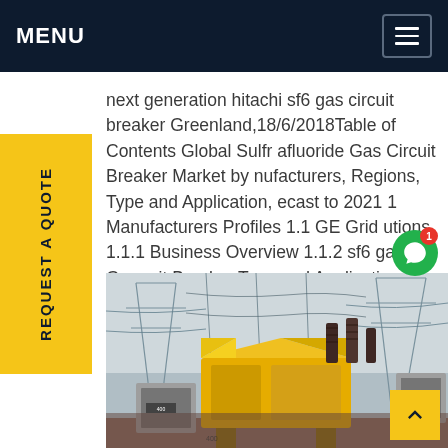MENU
next generation hitachi sf6 gas circuit breaker Greenland,18/6/2018Table of Contents Global Sulfr afluoride Gas Circuit Breaker Market by nufacturers, Regions, Type and Application, ecast to 2021 1 Manufacturers Profiles 1.1 GE Grid utions 1.1.1 Business Overview 1.1.2 sf6 gas Gas ruit Breaker Type and Applications 1.1.2.1 Type 1 t price
[Figure (photo): Electrical substation with yellow transformer equipment and transmission line towers in the background]
REQUEST A QUOTE